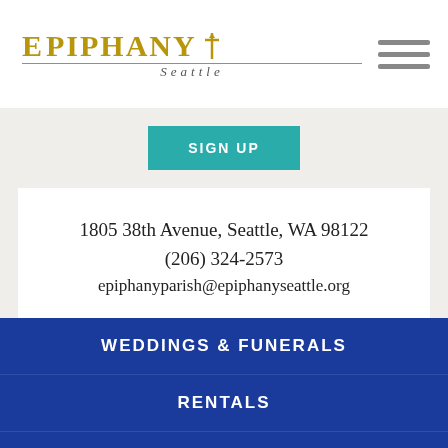Epiphany Seattle
SIGN UP
1805 38th Avenue, Seattle, WA 98122
(206) 324-2573
epiphanyparish@epiphanyseattle.org
WEDDINGS & FUNERALS
RENTALS
WORSHIP SERVICES
GIVE